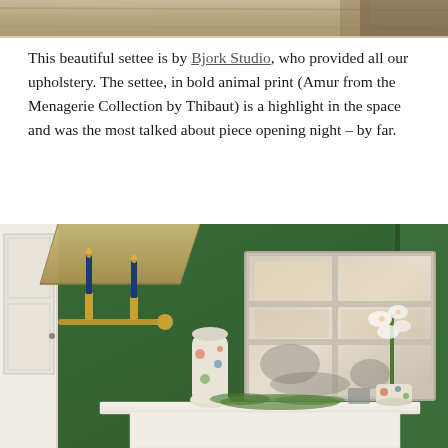[Figure (photo): Partial photo at top showing wooden or textured surface, cropped at bottom of frame]
This beautiful settee is by Bjork Studio, who provided all our upholstery. The settee, in bold animal print (Amur from the Menagerie Collection by Thibaut) is a highlight in the space and was the most talked about piece opening night – by far.
[Figure (photo): Interior photo showing a room with deep green walls, a white fireplace mantel with decorative mirror, blue candle wall sconce with brass hardware, decorative vases and white orchid flowers on the mantel]